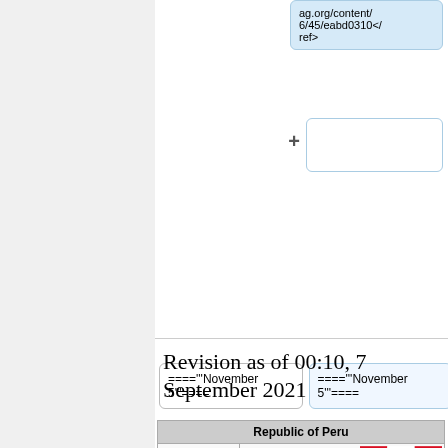[Figure (screenshot): Diff view showing reference box with 'ag.org/content/6/45/eabd0310</ref>' and a plus sign with empty box below]
[Figure (screenshot): Two boxes showing ===='''November 5'''==== on left and right, with empty boxes below]
Revision as of 00:10, 7 September 2021
| Republic of Peru |
| --- |
| Flag |  |
| Location | South America |
| Capital | Lima |
| Area | 1,285,216 sq km |